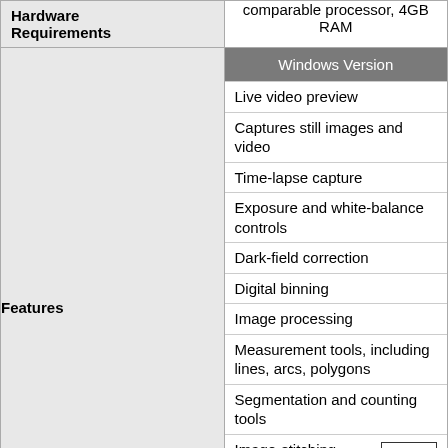|  |  |
| --- | --- |
| Hardware Requirements | comparable processor, 4GB RAM |
| Features | Windows Version
Live video preview
Captures still images and video
Time-lapse capture
Exposure and white-balance controls
Dark-field correction
Digital binning
Image processing
Measurement tools, including lines, arcs, polygons
Segmentation and counting tools
Image-stitching, extended depth-of-field, HDR
Fluorescence color-mapping
Mac/Linux Versions |